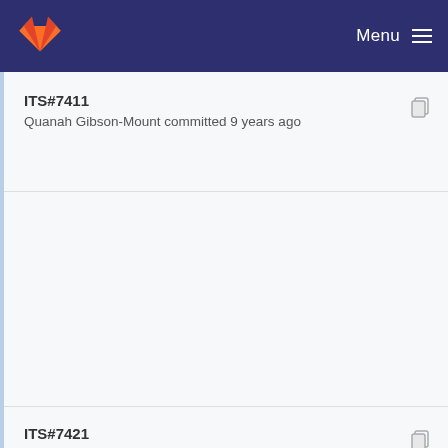Menu
ITS#7411
Quanah Gibson-Mount committed 9 years ago
ITS#7421
Quanah Gibson-Mount committed 9 years ago